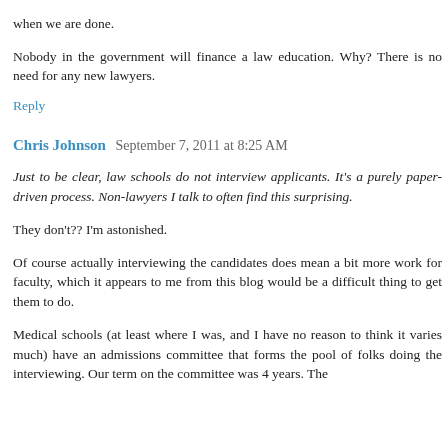when we are done.
Nobody in the government will finance a law education. Why? There is no need for any new lawyers.
Reply
Chris Johnson   September 7, 2011 at 8:25 AM
Just to be clear, law schools do not interview applicants. It's a purely paper-driven process. Non-lawyers I talk to often find this surprising.
They don't?? I'm astonished.
Of course actually interviewing the candidates does mean a bit more work for faculty, which it appears to me from this blog would be a difficult thing to get them to do.
Medical schools (at least where I was, and I have no reason to think it varies much) have an admissions committee that forms the pool of folks doing the interviewing. Our term on the committee was 4 years. The